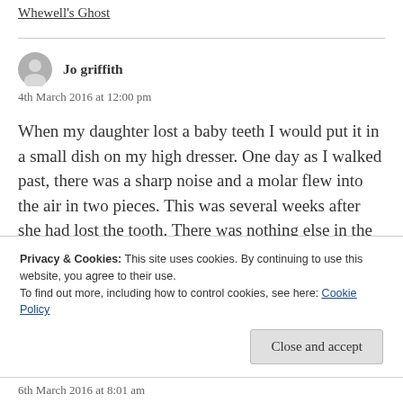Whewell's Ghost
Jo griffith
4th March 2016 at 12:00 pm
When my daughter lost a baby teeth I would put it in a small dish on my high dresser. One day as I walked past, there was a sharp noise and a molar flew into the air in two pieces. This was several weeks after she had lost the tooth. There was nothing else in the dish. Oddest thing, and if I hadn't been in the room I wouldn't have believed it.
Privacy & Cookies: This site uses cookies. By continuing to use this website, you agree to their use.
To find out more, including how to control cookies, see here: Cookie Policy
Close and accept
6th March 2016 at 8:01 am